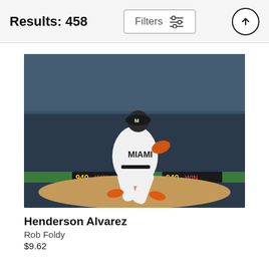Results: 458
[Figure (photo): Baseball pitcher Henderson Alvarez in Miami Marlins white uniform mid-pitch, crowd in background, stadium signage visible including '940 WIN']
Henderson Alvarez
Rob Foldy
$9.62